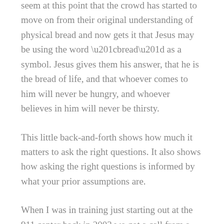seem at this point that the crowd has started to move on from their original understanding of physical bread and now gets it that Jesus may be using the word “bread” as a symbol. Jesus gives them his answer, that he is the bread of life, and that whoever comes to him will never be hungry, and whoever believes in him will never be thirsty.
This little back-and-forth shows how much it matters to ask the right questions. It also shows how asking the right questions is informed by what your prior assumptions are.
When I was in training just starting out at the 911 center back in 2003 we got a call from a woman who was frantic. She said that she had been driving down Route 1 with her family and all of a sudden her